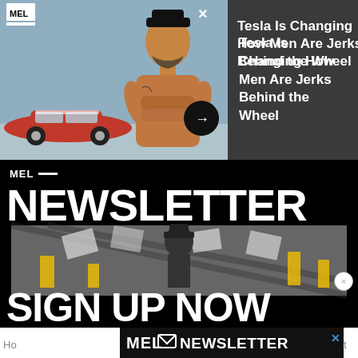[Figure (screenshot): Advertisement with a red Tesla car and shirtless man with crossed arms, MEL logo top left, X close button, and dark arrow button pointing right]
Tesla Is Changing How Men Are Jerks Behind the Wheel
[Figure (screenshot): MEL Newsletter advertisement with large white text NEWSLETTER and SIGN UP NOW on black background, with black and white cowboy/western collage image in center]
[Figure (screenshot): Bottom banner: MEL envelope icon NEWSLETTER on black background, with background text Ho... lot on white sides]